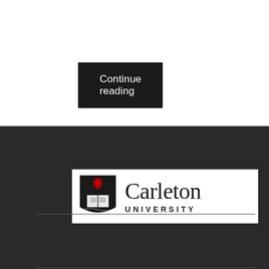Continue reading
[Figure (logo): Carleton University logo with shield and maple leaf]
[Figure (logo): Canadian Historical Association / Société historique du Canada logo]